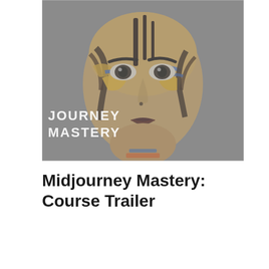[Figure (screenshot): A thumbnail image showing a face with decorative tribal/artistic face paint in yellow, orange, blue, and black. The image has a gray overlay/fade effect. Text overlay on the lower left reads 'JOURNEY MASTERY' (partially visible). The thumbnail represents a course trailer video.]
Midjourney Mastery: Course Trailer